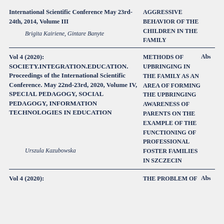International Scientific Conference May 23rd-24th, 2014, Volume III
AGGRESSIVE BEHAVIOR OF THE CHILDREN IN THE FAMILY
Brigita Kairiene, Gintare Banyte
Vol 4 (2020): SOCIETY.INTEGRATION.EDUCATION. Proceedings of the International Scientific Conference. May 22nd-23rd, 2020, Volume IV, SPECIAL PEDAGOGY, SOCIAL PEDAGOGY, INFORMATION TECHNOLOGIES IN EDUCATION
METHODS OF UPBRINGING IN THE FAMILY AS AN AREA OF FORMING THE UPBRINGING AWARENESS OF PARENTS ON THE EXAMPLE OF THE FUNCTIONING OF PROFESSIONAL FOSTER FAMILIES IN SZCZECIN
Abs
Urszula Kazubowska
Vol 4 (2020):
THE PROBLEM OF
Abs